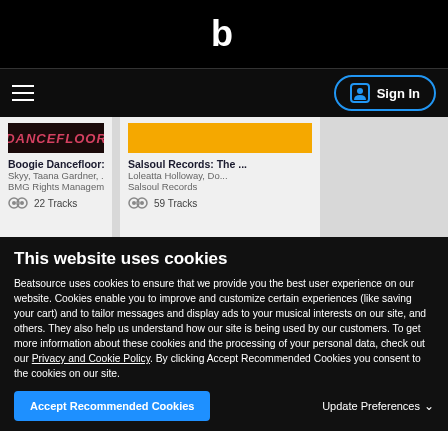[Figure (screenshot): Beatsource website header with logo 'b' in white on black background]
[Figure (screenshot): Navigation bar with hamburger menu and Sign In button]
[Figure (screenshot): Music album cards: Boogie Dancefloor and Salsoul Records]
This website uses cookies
Beatsource uses cookies to ensure that we provide you the best user experience on our website. Cookies enable you to improve and customize certain experiences (like saving your cart) and to tailor messages and display ads to your musical interests on our site, and others. They also help us understand how our site is being used by our customers. To get more information about these cookies and the processing of your personal data, check out our Privacy and Cookie Policy. By clicking Accept Recommended Cookies you consent to the cookies on our site.
Accept Recommended Cookies
Update Preferences